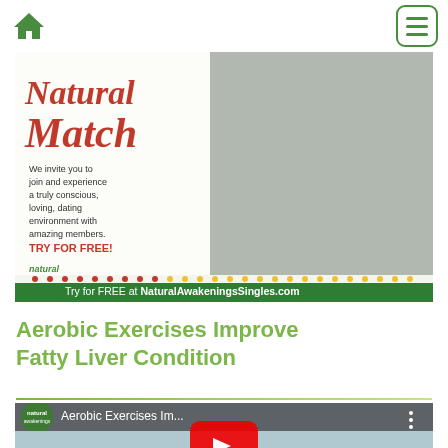Natural Awakenings - home and menu navigation
[Figure (photo): Advertisement banner for NaturalAwakeningsSingles.com showing a couple, with text 'Natural Match - We invite you to join and experience a truly conscious, loving, dating environment with amazing members. TRY FOR FREE!' and footer 'Try for FREE at NaturalAwakeningsSingles.com']
Aerobic Exercises Improve Fatty Liver Condition
[Figure (screenshot): YouTube video thumbnail for 'Aerobic Exercises Im...' from Natural Awakenings channel, showing play button and background image]